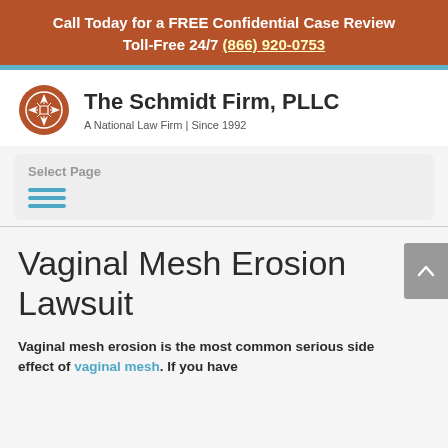Call Today for a FREE Confidential Case Review
Toll-Free 24/7 (866) 920-0753
[Figure (logo): The Schmidt Firm, PLLC logo with circular ornamental icon. Text: 'The Schmidt Firm, PLLC — A National Law Firm | Since 1992']
Select Page
Vaginal Mesh Erosion Lawsuit
Vaginal mesh erosion is the most common serious side effect of vaginal mesh. If you have